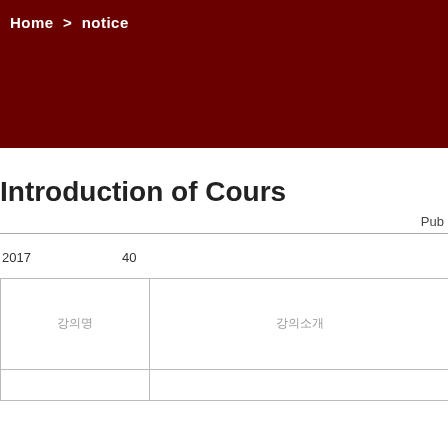Home  >  notice
Introduction of Cours
Pub
2017年度에 개설되는 학과目 40개 과目에 대한 소개입니다.
| 강의명 | 강의소개 |
| --- | --- |
|  |  |
|  |  |